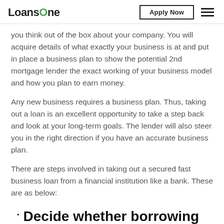LoansOne | Apply Now
you think out of the box about your company. You will acquire details of what exactly your business is at and put in place a business plan to show the potential 2nd mortgage lender the exact working of your business model and how you plan to earn money.
Any new business requires a business plan. Thus, taking out a loan is an excellent opportunity to take a step back and look at your long-term goals. The lender will also steer you in the right direction if you have an accurate business plan.
There are steps involved in taking out a secured fast business loan from a financial institution like a bank. These are as below:
Decide whether borrowing is the right option for you